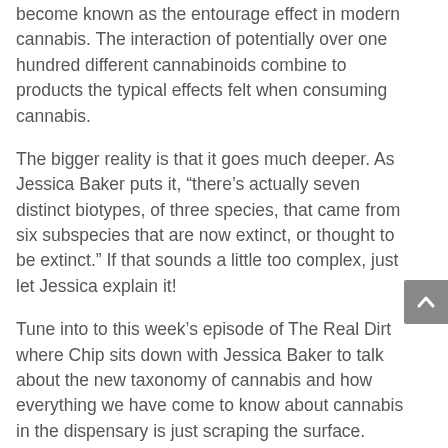become known as the entourage effect in modern cannabis. The interaction of potentially over one hundred different cannabinoids combine to products the typical effects felt when consuming cannabis.
The bigger reality is that it goes much deeper. As Jessica Baker puts it, “there’s actually seven distinct biotypes, of three species, that came from six subspecies that are now extinct, or thought to be extinct.” If that sounds a little too complex, just let Jessica explain it!
Tune into to this week’s episode of The Real Dirt where Chip sits down with Jessica Baker to talk about the new taxonomy of cannabis and how everything we have come to know about cannabis in the dispensary is just scraping the surface.
Listen on iTunes